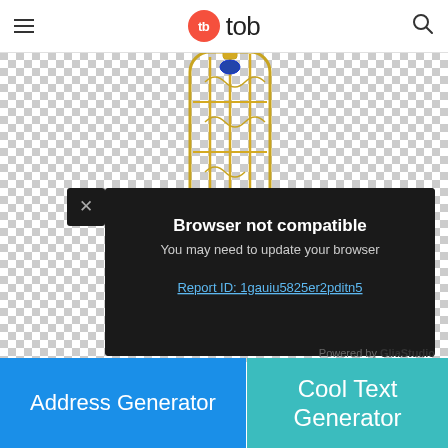tb tob
[Figure (photo): A gold filigree jewelry piece (pendant or brooch) on a transparent/checkerboard background, showing intricate lattice goldwork with blue gemstone accents. A dark semi-transparent modal dialog overlays the lower portion of the image showing a browser compatibility error. The modal has an X close button in its top-left corner. Header text reads 'Browser not compatible', subtext 'You may need to update your browser', and a link 'Report ID: 1gauiu5825er2pditn5'. Bottom right of the image area shows 'Powered by GliaStudio'.]
Browser not compatible
You may need to update your browser
Report ID: 1gauiu5825er2pditn5
Powered by GliaStudio
Address Generator
Cool Text Generator